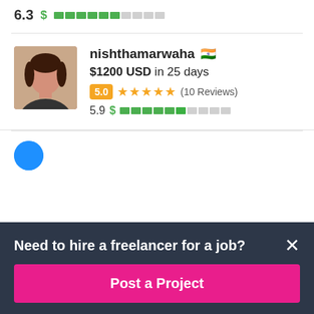6.3 [green bars partial]
nishthamarwaha 🇮🇳 $1200 USD in 25 days 5.0 ★★★★★ (10 Reviews) 5.9 $ [green bars]
Need to hire a freelancer for a job?
Post a Project